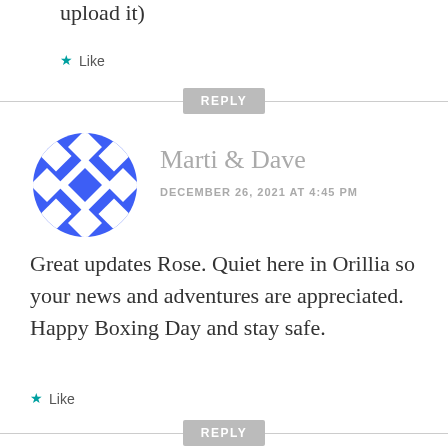upload it)
★ Like
REPLY
[Figure (logo): Blue geometric circular avatar for Marti & Dave]
Marti & Dave
DECEMBER 26, 2021 AT 4:45 PM
Great updates Rose. Quiet here in Orillia so your news and adventures are appreciated. Happy Boxing Day and stay safe.
★ Like
REPLY